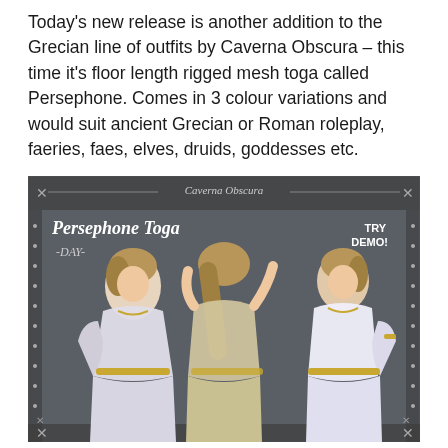Today's new release is another addition to the Grecian line of outfits by Caverna Obscura – this time it's floor length rigged mesh toga called Persephone. Comes in 3 colour variations and would suit ancient Grecian or Roman roleplay, faeries, faes, elves, druids, goddesses etc.
[Figure (illustration): Product promotional image for the Persephone Toga by Caverna Obscura. Shows three views (front, back, side) of a digitally illustrated female character wearing a floor-length white/lavender Grecian toga with gold belt and jewelry. The image header reads 'Caverna Obscura', left side says 'Persephone Toga -DAY-', top right says 'TRY DEMO!'. Decorative floral border around the image on a dark grey background.]